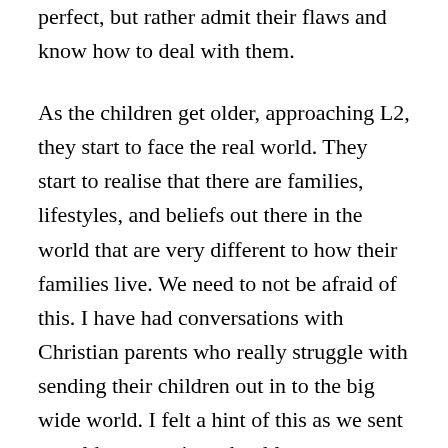perfect, but rather admit their flaws and know how to deal with them.
As the children get older, approaching L2, they start to face the real world. They start to realise that there are families, lifestyles, and beliefs out there in the world that are very different to how their families live. We need to not be afraid of this. I have had conversations with Christian parents who really struggle with sending their children out in to the big wide world. I felt a hint of this as we sent our eldest to senior school last year. Every other educational environment he had encountered was fairly protective, but this was a whole new challenge. He is definitely at a different stage of life to our younger